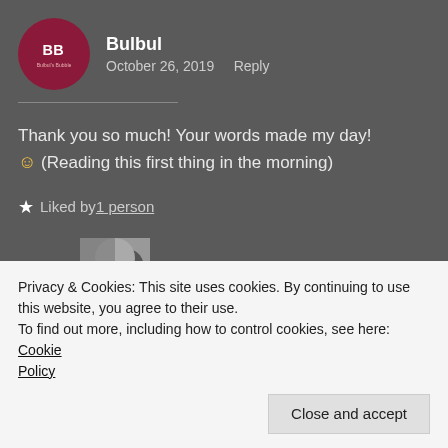[Figure (logo): Circular dark red logo with 'BB' text and 'Bulbul's Bubble' text below]
Bulbul
October 26, 2019    Reply
Thank you so much! Your words made my day! 🙂 (Reading this first thing in the morning)
★ Liked by 1 person
[Figure (photo): Black and white photo of Pallavi]
Pallavi
Privacy & Cookies: This site uses cookies. By continuing to use this website, you agree to their use.
To find out more, including how to control cookies, see here: Cookie Policy
Close and accept